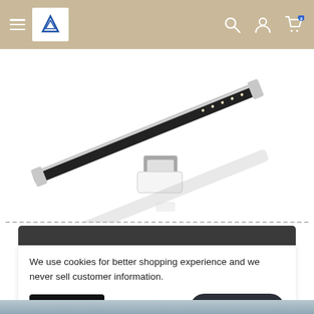Navigation bar with hamburger menu, logo, search, account and cart icons
[Figure (photo): LED bathroom mirror light bar, chrome/silver and black finish, angled product shot on white background with reflection below]
[Figure (other): Dark gray/charcoal rounded rectangle header section]
We use cookies for better shopping experience and we never sell customer information.
Accept
Chat with us